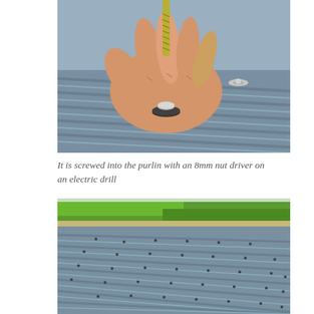[Figure (photo): Close-up photo of a hand screwing a metal screw/fastener with a rubber washer into a ribbed metal roof panel (purlin), with additional installed fasteners visible in the background on the grey corrugated metal roof.]
It is screwed into the purlin with an 8mm nut driver on an electric drill
[Figure (photo): Wide aerial/perspective photo showing a large area of installed grey corrugated/ribbed metal roofing with many small fasteners visible across the surface, with green grass and trees visible in the background at the top edge.]